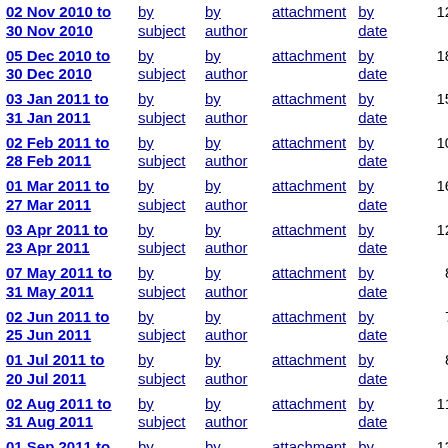| Date Range | by subject | by author | attachment | by date | count |
| --- | --- | --- | --- | --- | --- |
| 02 Nov 2010 to 30 Nov 2010 | by subject | by author | attachment | by date | 12 |
| 05 Dec 2010 to 30 Dec 2010 | by subject | by author | attachment | by date | 18 |
| 03 Jan 2011 to 31 Jan 2011 | by subject | by author | attachment | by date | 15 |
| 02 Feb 2011 to 28 Feb 2011 | by subject | by author | attachment | by date | 10 |
| 01 Mar 2011 to 27 Mar 2011 | by subject | by author | attachment | by date | 16 |
| 03 Apr 2011 to 23 Apr 2011 | by subject | by author | attachment | by date | 12 |
| 07 May 2011 to 31 May 2011 | by subject | by author | attachment | by date | 8 |
| 02 Jun 2011 to 25 Jun 2011 | by subject | by author | attachment | by date | 7 |
| 01 Jul 2011 to 20 Jul 2011 | by subject | by author | attachment | by date | 8 |
| 02 Aug 2011 to 31 Aug 2011 | by subject | by author | attachment | by date | 11 |
| 01 Sep 2011 to 28 Sep 2011 | by subject | by author | attachment | by date | 13 |
| 27 Nov 2011 to ... | by subject | by author | attachment | by date | 3 |